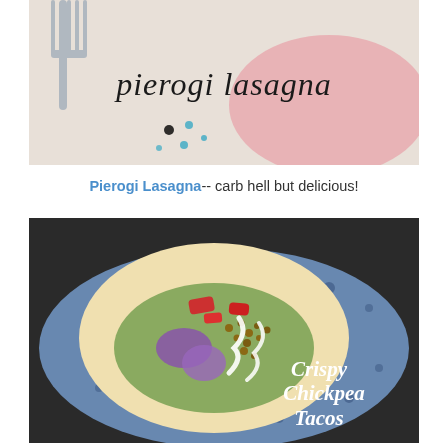[Figure (photo): Photo of a fork and colorful dotted plate with the text 'pierogi lasagna' in decorative handwritten font overlay]
Pierogi Lasagna-- carb hell but delicious!
[Figure (photo): Photo of a taco on a flour tortilla on a blue speckled plate with crispy chickpeas, roasted red peppers, guacamole, sour cream drizzle, and text overlay 'Crispy Chickpea Tacos']